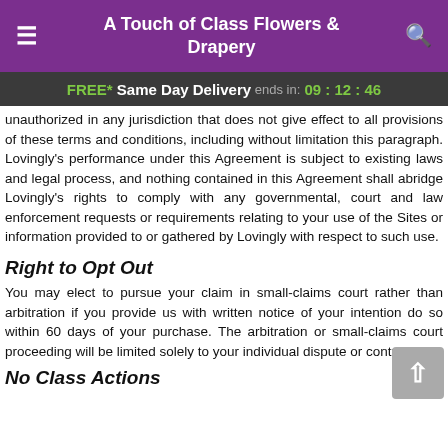A Touch of Class Flowers & Drapery
FREE* Same Day Delivery ends in: 09:12:46
unauthorized in any jurisdiction that does not give effect to all provisions of these terms and conditions, including without limitation this paragraph. Lovingly's performance under this Agreement is subject to existing laws and legal process, and nothing contained in this Agreement shall abridge Lovingly's rights to comply with any governmental, court and law enforcement requests or requirements relating to your use of the Sites or information provided to or gathered by Lovingly with respect to such use.
Right to Opt Out
You may elect to pursue your claim in small-claims court rather than arbitration if you provide us with written notice of your intention do so within 60 days of your purchase. The arbitration or small-claims court proceeding will be limited solely to your individual dispute or controversy.
No Class Actions